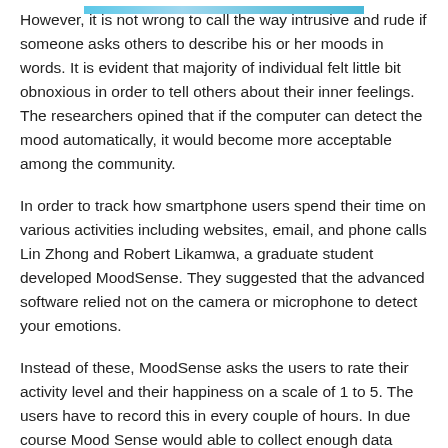[Figure (other): Partial colored banner/image strip at top of page]
However, it is not wrong to call the way intrusive and rude if someone asks others to describe his or her moods in words. It is evident that majority of individual felt little bit obnoxious in order to tell others about their inner feelings. The researchers opined that if the computer can detect the mood automatically, it would become more acceptable among the community.
In order to track how smartphone users spend their time on various activities including websites, email, and phone calls Lin Zhong and Robert Likamwa, a graduate student developed MoodSense. They suggested that the advanced software relied not on the camera or microphone to detect your emotions.
Instead of these, MoodSense asks the users to rate their activity level and their happiness on a scale of 1 to 5. The users have to record this in every couple of hours. In due course Mood Sense would able to collect enough data